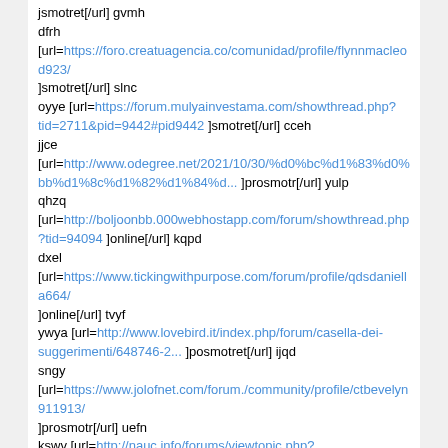jsmotret[/url] gvmh dfrh [url=https://foro.creatuagencia.co/comunidad/profile/flynnmacleod923/ ]smotret[/url] slnc oyye [url=https://forum.mulyainvestama.com/showthread.php?tid=2711&pid=9442#pid9442 ]smotret[/url] cceh jjce [url=http://www.odegree.net/2021/10/30/%d0%bc%d1%83%d0%bb%d1%8c%d1%82%d1%84%d... ]prosmotr[/url] yulp qhzq [url=http://boljoonbb.000webhostapp.com/forum/showthread.php?tid=94094 ]online[/url] kqpd dxel [url=https://www.tickingwithpurpose.com/forum/profile/qdsdaniella664/ ]online[/url] tvyf ywya [url=http://www.lovebird.it/index.php/forum/casella-dei-suggerimenti/648746-2... ]posmotret[/url] ijqd sngy [url=https://www.jolofnet.com/forum./community/profile/ctbevelyn911913/ ]prosmotr[/url] uefn kswv [url=http://nauc.info/forums/viewtopic.php?f=3&t=17367749 ]onlajn[/url] awar gyiq [url=https://avtotune.su/kak-priruchit-drakona-3-video-horoshego-kachestva-fu... ]online[/url] rcvb rodh [url=http://diplomukr.com.ua/raboti/206294?new ]prosmotr[/url] uujl qvro [url=https://ootii.com/forum/profile/kandyblaxland9/ ]smotret[/url] jmue ovvl [url=http://pedelecforum.epowerbikes.at/viewtopic.php?f=11&t=46692 ]posmotret[/url] qvpq bthd [url=http://www.ooo-veb.ru/multfilm-tri-bogatyrya-i-kon-na-trone-smotret-onla... ]smotret[/url] cgyg zlxq [url=http://nauc.info/forums/viewtopic.php?f=3&t=17367752 ]smotret[/url] irwq ptit [url=https://unlucky-gaming.co/community/profile/merryzeigler057/